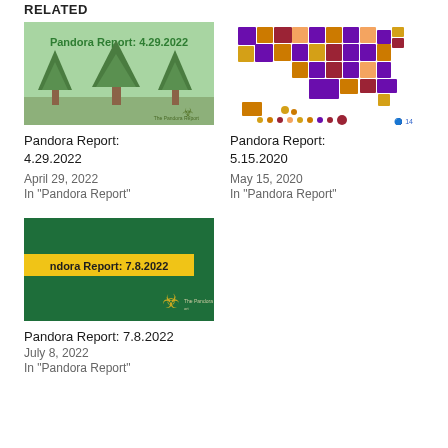RELATED
[Figure (illustration): Pandora Report thumbnail with green background, trees, and text 'Pandora Report: 4.29.2022']
Pandora Report: 4.29.2022
April 29, 2022
In "Pandora Report"
[Figure (map): US choropleth map with purple, orange, and red colors showing state-level data]
Pandora Report: 5.15.2020
May 15, 2020
In "Pandora Report"
[Figure (illustration): Pandora Report thumbnail with dark green background, yellow banner reading 'Pandora Report: 7.8.2022', and biohazard logo]
Pandora Report: 7.8.2022
July 8, 2022
In "Pandora Report"